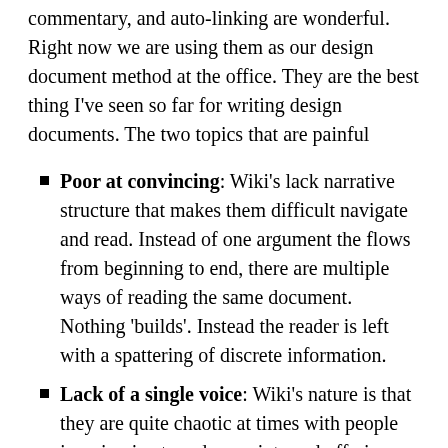commentary, and auto-linking are wonderful. Right now we are using them as our design document method at the office. They are the best thing I've seen so far for writing design documents. The two topics that are painful
Poor at convincing: Wiki's lack narrative structure that makes them difficult navigate and read. Instead of one argument the flows from beginning to end, there are multiple ways of reading the same document. Nothing 'builds'. Instead the reader is left with a spattering of discrete information.
Lack of a single voice: Wiki's nature is that they are quite chaotic at times with people jumping in at random points and offering a wide variety of comments, ideas, etc. This is mentally invigorating but can be difficult to parse. Often developers are left scratching their heads and